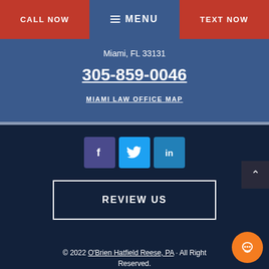CALL NOW | MENU | TEXT NOW
Miami, FL 33131
305-859-0046
MIAMI LAW OFFICE MAP
[Figure (other): Social media icons: Facebook (purple), Twitter (blue), LinkedIn (blue)]
REVIEW US
© 2022 O'Brien Hatfield Reese, PA · All Rights Reserved.